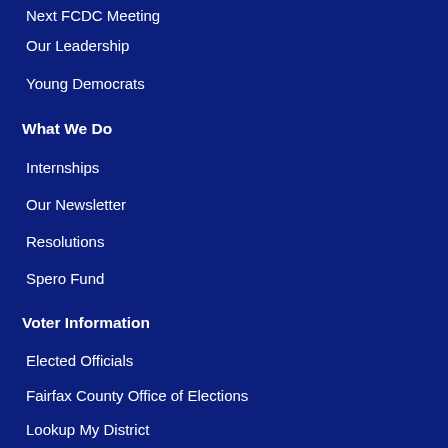Next FCDC Meeting
Our Leadership
Young Democrats
What We Do
Internships
Our Newsletter
Resolutions
Spero Fund
Voter Information
Elected Officials
Fairfax County Office of Elections
Lookup My District
⊘ FairfaxVotes.org
Calendar